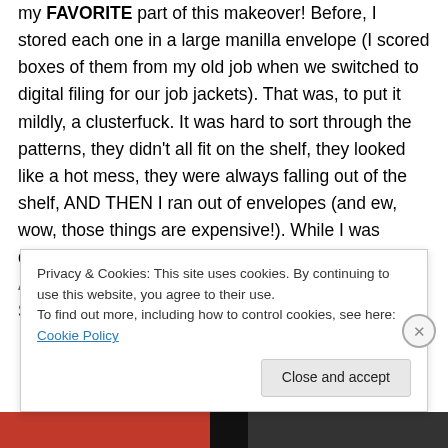my FAVORITE part of this makeover! Before, I stored each one in a large manilla envelope (I scored boxes of them from my old job when we switched to digital filing for our job jackets). That was, to put it mildly, a clusterfuck. It was hard to sort through the patterns, they didn't all fit on the shelf, they looked like a hot mess, they were always falling out of the shelf, AND THEN I ran out of envelopes (and ew, wow, those things are expensive!). While I was debating what to do about this, I came across Andrea's Craftsy post on organizing PDF patterns. Solution #1 –
Privacy & Cookies: This site uses cookies. By continuing to use this website, you agree to their use. To find out more, including how to control cookies, see here: Cookie Policy
Close and accept